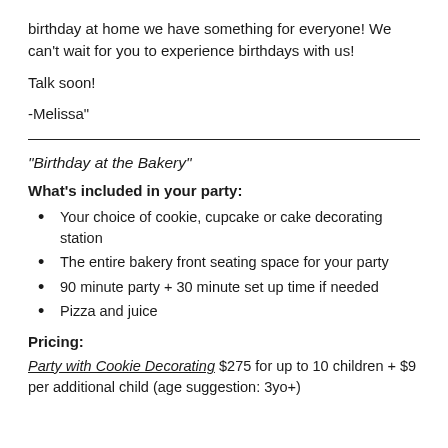birthday at home we have something for everyone! We can't wait for you to experience birthdays with us!
Talk soon!
-Melissa"
"Birthday at the Bakery"
What's included in your party:
Your choice of cookie, cupcake or cake decorating station
The entire bakery front seating space for your party
90 minute party + 30 minute set up time if needed
Pizza and juice
Pricing:
Party with Cookie Decorating $275 for up to 10 children + $9 per additional child (age suggestion: 3yo+)